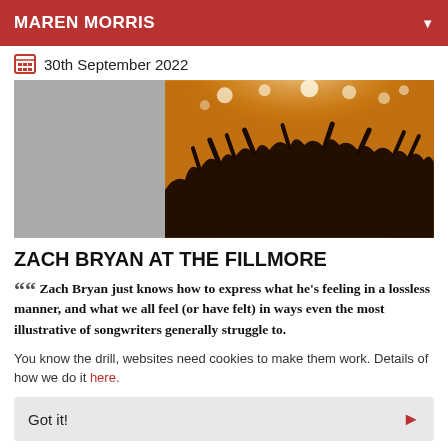MAREN MORRIS
30th September 2022
[Figure (photo): Concert crowd photo with golden/orange stage lighting; silhouettes of audience with raised hands. Left portion is gray placeholder.]
ZACH BRYAN AT THE FILLMORE
““ Zach Bryan just knows how to express what he's feeling in a lossless manner, and what we all feel (or have felt) in ways even the most illustrative of songwriters generally struggle to. ””
You know the drill, websites need cookies to make them work. Details of how we do it here.
Got it!